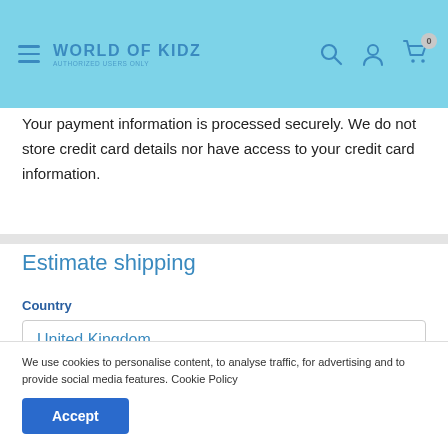World of Kidz — navigation header with search, account, and cart icons
Your payment information is processed securely. We do not store credit card details nor have access to your credit card information.
Estimate shipping
Country
United Kingdom
We use cookies to personalise content, to analyse traffic, for advertising and to provide social media features. Cookie Policy
Accept